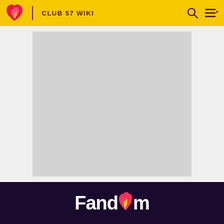CLUB 57 WIKI
[Figure (illustration): Gray placeholder image box in the center of the page content area]
Fandom